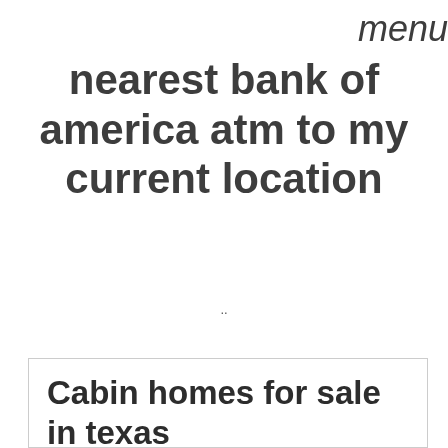menu
nearest bank of america atm to my current location
..
Cabin homes for sale in texas